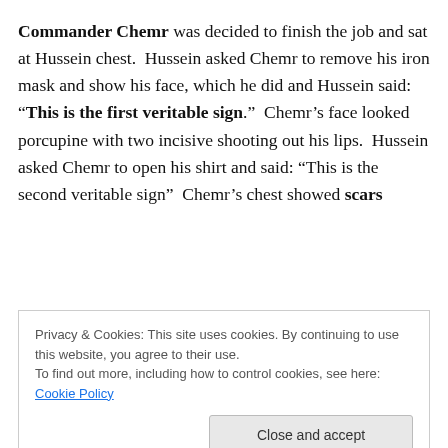Commander Chemr was decided to finish the job and sat at Hussein chest.  Hussein asked Chemr to remove his iron mask and show his face, which he did and Hussein said: “This is the first veritable sign.”  Chemr’s face looked porcupine with two incisive shooting out his lips.  Hussein asked Chemr to open his shirt and said: “This is the second veritable sign”  Chemr’s chest showed scars
Privacy & Cookies: This site uses cookies. By continuing to use this website, you agree to their use.
To find out more, including how to control cookies, see here: Cookie Policy
is it?”  Chemr replied: “This is the time of prayer.”  Hussein